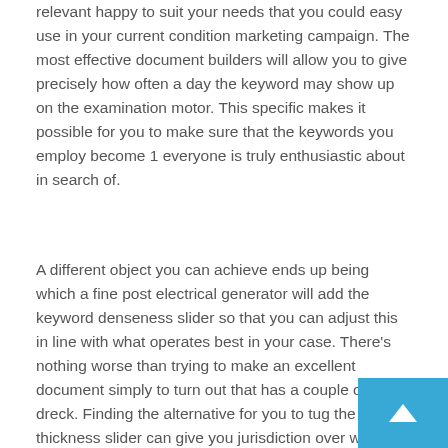relevant happy to suit your needs that you could easy use in your current condition marketing campaign. The most effective document builders will allow you to give precisely how often a day the keyword may show up on the examination motor. This specific makes it possible for you to make sure that the keywords you employ become 1 everyone is truly enthusiastic about in search of.
A different object you can achieve ends up being which a fine post electrical generator will add the keyword denseness slider so that you can adjust this in line with what operates best in your case. There’s nothing worse than trying to make an excellent document simply to turn out that has a couple of dreck. Finding the alternative for you to tug the thickness slider can give you jurisdiction over what grows distributed.